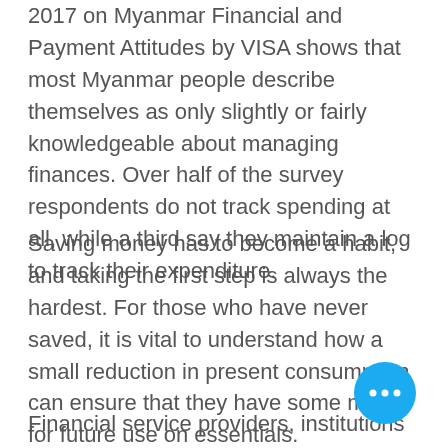2017 on Myanmar Financial and Payment Attitudes by VISA shows that most Myanmar people describe themselves as only slightly or fairly knowledgeable about managing finances. Over half of the survey respondents do not track spending at all, while a third say they maintain a log to track their expenditure.
Saving money has to become a habit, and taking the first step is always the hardest. For those who have never saved, it is vital to understand how a small reduction in present consumption can ensure that they have some money for future use on essentials.
Financial service providers, institutions